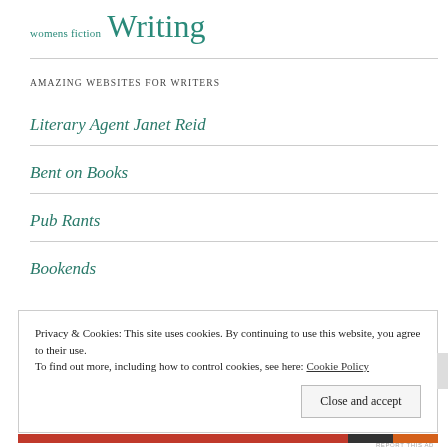womens fiction Writing
AMAZING WEBSITES FOR WRITERS
Literary Agent Janet Reid
Bent on Books
Pub Rants
Bookends
Privacy & Cookies: This site uses cookies. By continuing to use this website, you agree to their use. To find out more, including how to control cookies, see here: Cookie Policy
Close and accept